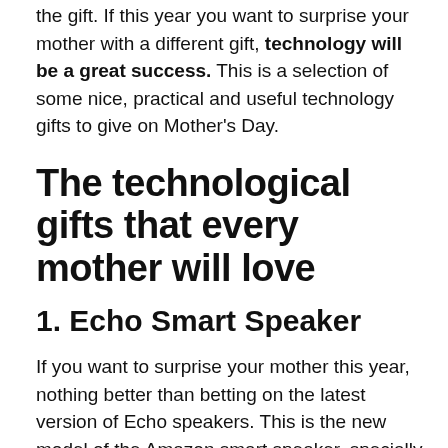the gift. If this year you want to surprise your mother with a different gift, technology will be a great success. This is a selection of some nice, practical and useful technology gifts to give on Mother's Day.
The technological gifts that every mother will love
1. Echo Smart Speaker
If you want to surprise your mother this year, nothing better than betting on the latest version of Echo speakers. This is the new model of the Amazon smart speaker, specially designed to